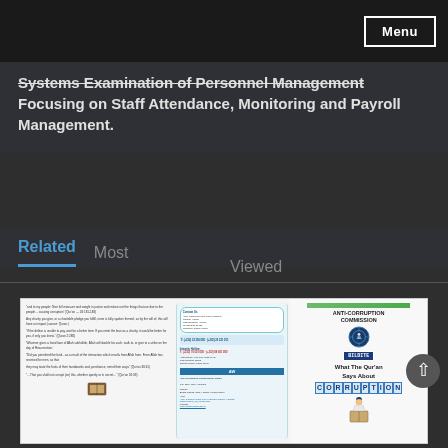Menu
Systems Examination of Personnel Management Focusing on Staff Attendance, Monitoring and Payroll Management.
Related   Most   Viewed
[Figure (photo): Thumbnail of an Anti-Corruption Commission brochure showing three panels: left panel with Quranic quotes about corruption, middle panel with contact information, and right panel with the commission logo and 'What The Qur'an Says About Corruption' text.]